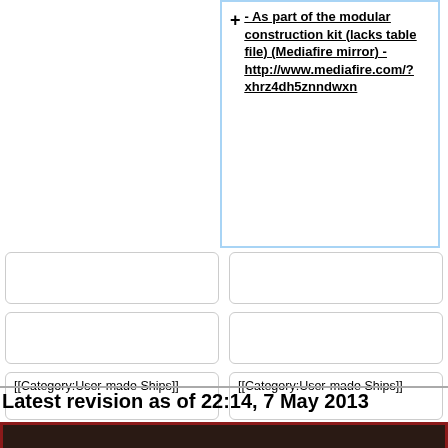As part of the modular construction kit (lacks table file) (Mediafire mirror) - http://www.mediafire.com/?xhrz4dh5znndwxn
[[Category:User-made Ships]]
[[Category:User-made Ships]]
[[Category:Installation]]
[[Category:Installation]]
Latest revision as of 22:14, 7 May 2013
All information related to the Cargo Platform is non-canon.